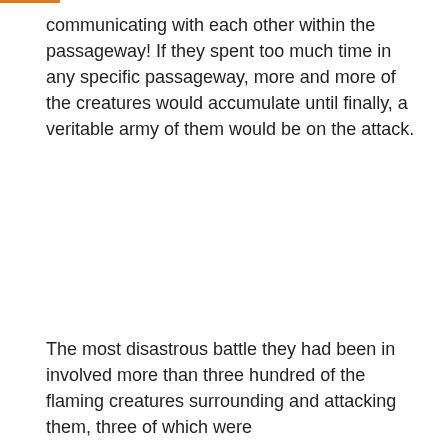communicating with each other within the passageway! If they spent too much time in any specific passageway, more and more of the creatures would accumulate until finally, a veritable army of them would be on the attack.
The most disastrous battle they had been in involved more than three hundred of the flaming creatures surrounding and attacking them, three of which were